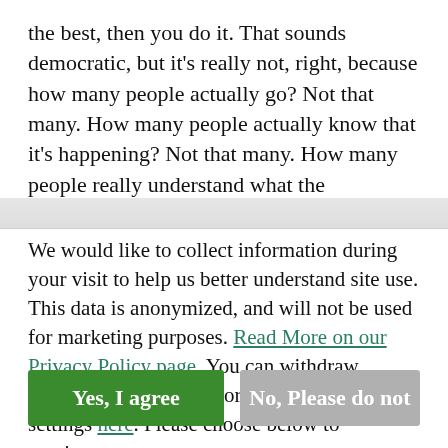the best, then you do it. That sounds democratic, but it's really not, right, because how many people actually go? Not that many. How many people actually know that it's happening? Not that many. How many people really understand what the choices are? Not that many.
We would like to collect information during your visit to help us better understand site use. This data is anonymized, and will not be used for marketing purposes. Read More on our Privacy Policy page. You can withdraw permission at any time or update your privacy settings here. Please choose below to continue.
Yes, I agree
No, Please do not